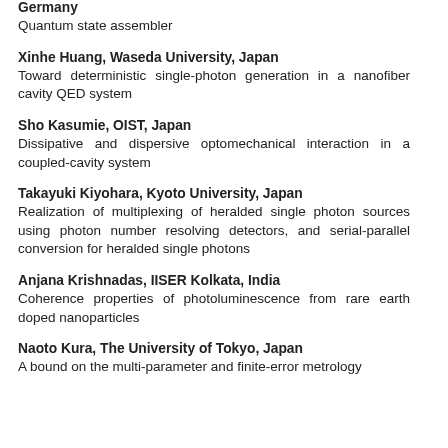Germany
Quantum state assembler
Xinhe Huang, Waseda University, Japan
Toward deterministic single-photon generation in a nanofiber cavity QED system
Sho Kasumie, OIST, Japan
Dissipative and dispersive optomechanical interaction in a coupled-cavity system
Takayuki Kiyohara, Kyoto University, Japan
Realization of multiplexing of heralded single photon sources using photon number resolving detectors, and serial-parallel conversion for heralded single photons
Anjana Krishnadas, IISER Kolkata, India
Coherence properties of photoluminescence from rare earth doped nanoparticles
Naoto Kura, The University of Tokyo, Japan
A bound on the multi-parameter and finite-error metrology